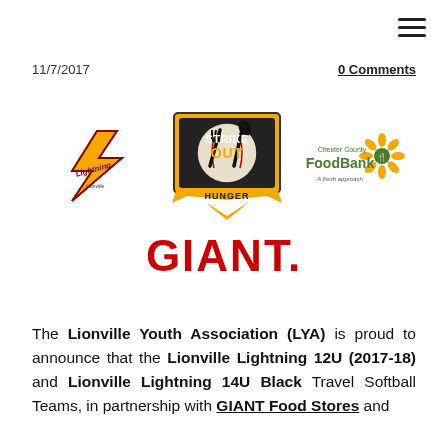11/7/2017    0 Comments
[Figure (logo): Three logos side by side: Lionville Lightning softball team logo (yellow lightning bolt with 'Lightning' text), Strike Out Hunger logo (baseball diamond with crossed fork and spoon), Chester County FoodBank logo. Below them: GIANT food stores logo in red.]
The Lionville Youth Association (LYA) is proud to announce that the Lionville Lightning 12U (2017-18) and Lionville Lightning 14U Black Travel Softball Teams, in partnership with GIANT Food Stores and